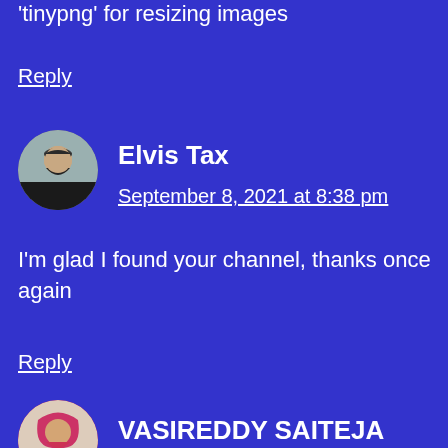'tinypng' for resizing images
Reply
Elvis Tax
September 8, 2021 at 8:38 pm
[Figure (photo): Round avatar photo of Elvis Tax, a person with short hair wearing a dark jacket]
I'm glad I found your channel, thanks once again
Reply
[Figure (photo): Round avatar photo of VASIREDDY SAITEJA, person with red/dark hair]
VASIREDDY SAITEJA